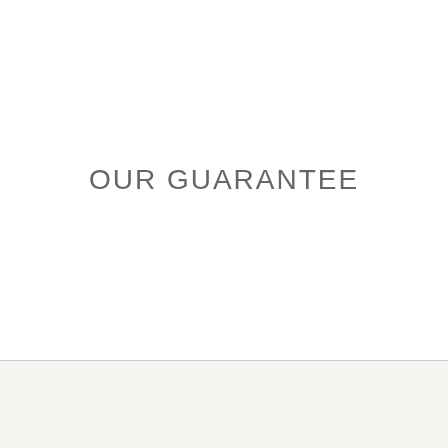OUR GUARANTEE
Home
Diff
Request A Call Back